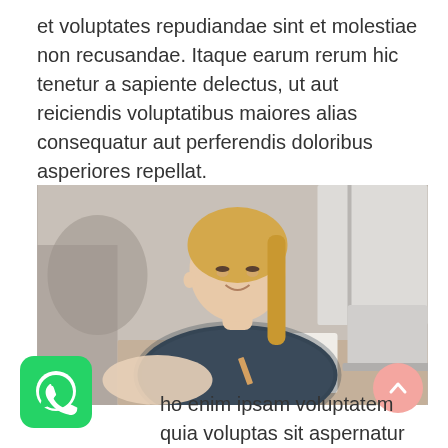et voluptates repudiandae sint et molestiae non recusandae. Itaque earum rerum hic tenetur a sapiente delectus, ut aut reiciendis voluptatibus maiores alias consequatur aut perferendis doloribus asperiores repellat.
[Figure (photo): Young woman with blonde hair smiling, writing in a notebook at a desk with a laptop open beside her, in a cafe or study room setting.]
ho enim ipsam voluptatem quia voluptas sit aspernatur aut odit aut fugit, sed quia